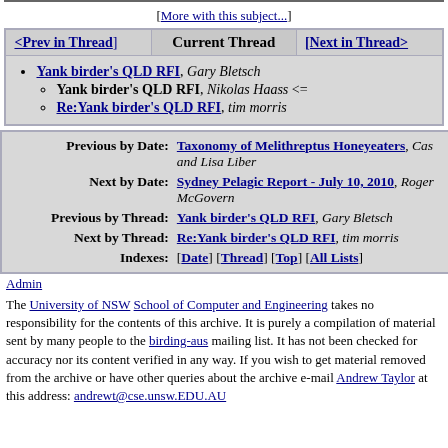[More with this subject...]
| <Prev in Thread> | Current Thread | [Next in Thread> |
| --- | --- | --- |
| Yank birder's QLD RFI, Gary Bletsch |  |  |
| Yank birder's QLD RFI, Nikolas Haass <= |  |  |
| Re:Yank birder's QLD RFI, tim morris |  |  |
| Previous by Date: | Taxonomy of Melithreptus Honeyeaters, Cas and Lisa Liber |
| Next by Date: | Sydney Pelagic Report - July 10, 2010, Roger McGovern |
| Previous by Thread: | Yank birder's QLD RFI, Gary Bletsch |
| Next by Thread: | Re:Yank birder's QLD RFI, tim morris |
| Indexes: | [Date] [Thread] [Top] [All Lists] |
Admin
The University of NSW School of Computer and Engineering takes no responsibility for the contents of this archive. It is purely a compilation of material sent by many people to the birding-aus mailing list. It has not been checked for accuracy nor its content verified in any way. If you wish to get material removed from the archive or have other queries about the archive e-mail Andrew Taylor at this address: andrewt@cse.unsw.EDU.AU